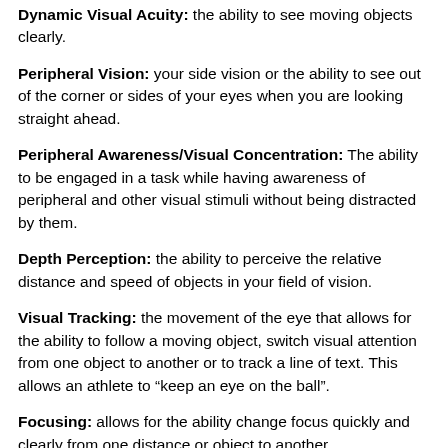Dynamic Visual Acuity: the ability to see moving objects clearly.
Peripheral Vision: your side vision or the ability to see out of the corner or sides of your eyes when you are looking straight ahead.
Peripheral Awareness/Visual Concentration: The ability to be engaged in a task while having awareness of peripheral and other visual stimuli without being distracted by them.
Depth Perception: the ability to perceive the relative distance and speed of objects in your field of vision.
Visual Tracking: the movement of the eye that allows for the ability to follow a moving object, switch visual attention from one object to another or to track a line of text. This allows an athlete to “keep an eye on the ball”.
Focusing: allows for the ability change focus quickly and clearly from one distance or object to another.